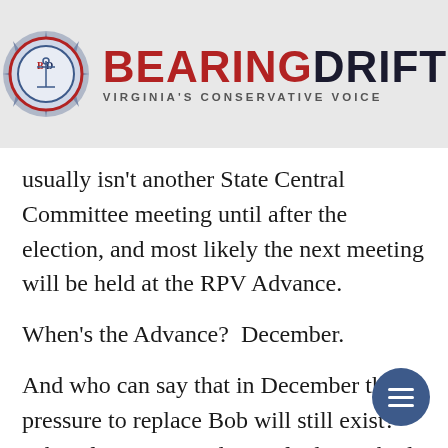[Figure (logo): Bearing Drift logo — compass rose emblem with 'BD' initials and text 'BEARINGDRIFT' with subtitle 'VIRGINIA'S CONSERVATIVE VOICE' on grey background]
usually isn't another State Central Committee meeting until after the election, and most likely the next meeting will be held at the RPV Advance.
When's the Advance?  December.
And who can say that in December the pressure to replace Bob will still exist?  What if State Central can't find somebody willing to be Treasurer – then Bob just has to stay.  Not his fault, of